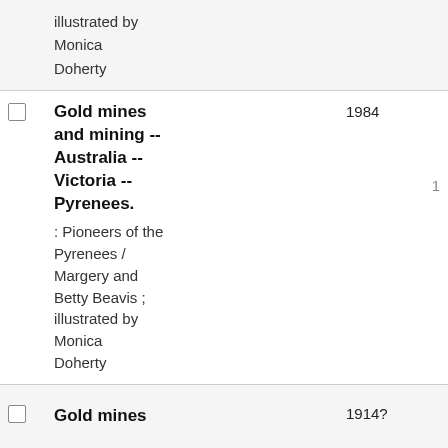illustrated by Monica Doherty
Gold mines and mining -- Australia -- Victoria -- Pyrenees. : Pioneers of the Pyrenees / Margery and Betty Beavis ; illustrated by Monica Doherty 1984 1
Gold mines 1914?